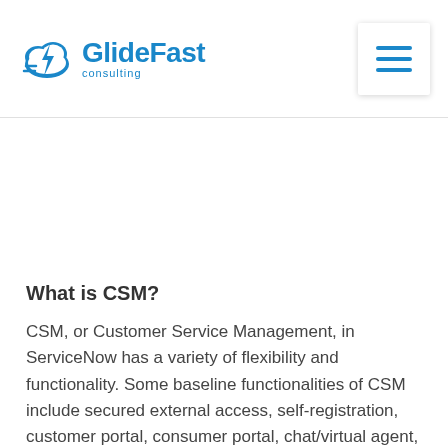[Figure (logo): GlideFast Consulting logo with cloud and lightning bolt icon in blue, followed by text 'GlideFast consulting']
What is CSM?
CSM, or Customer Service Management, in ServiceNow has a variety of flexibility and functionality. Some baseline functionalities of CSM include secured external access, self-registration, customer portal, consumer portal, chat/virtual agent, agent workspace, major issue (case) management, install base, email